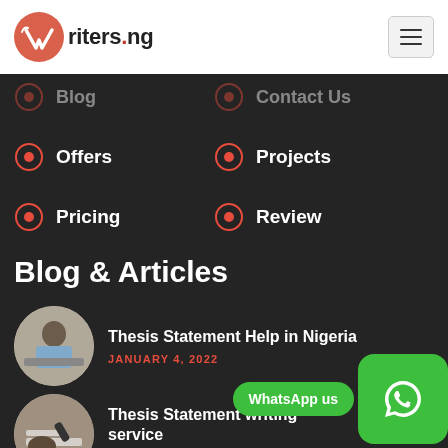Writers.ng
Blog
Contact Us
Offers
Projects
Pricing
Review
Blog & Articles
Thesis Statement Help in Nigeria
JANUARY 4, 2022
Thesis Statement writing service
JANUARY 4, 2022